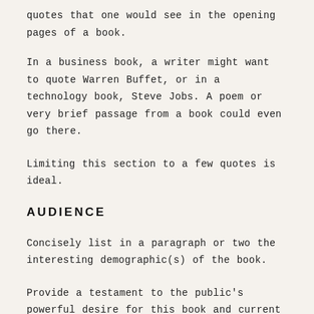quotes that one would see in the opening pages of a book.
In a business book, a writer might want to quote Warren Buffet, or in a technology book, Steve Jobs. A poem or very brief passage from a book could even go there.
Limiting this section to a few quotes is ideal.
AUDIENCE
Concisely list in a paragraph or two the interesting demographic(s) of the book.
Provide a testament to the public's powerful desire for this book and current trends behind that desire in this section as well.